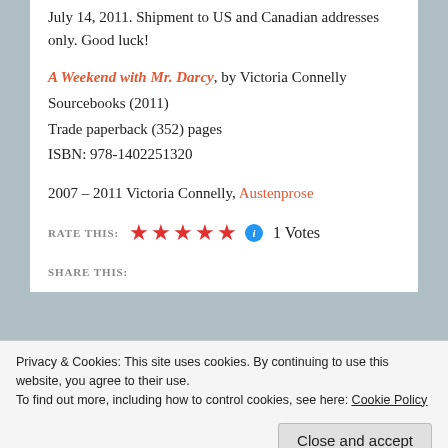July 14, 2011. Shipment to US and Canadian addresses only. Good luck!
A Weekend with Mr. Darcy, by Victoria Connelly
Sourcebooks (2011)
Trade paperback (352) pages
ISBN: 978-1402251320
2007 – 2011 Victoria Connelly, Austenprose
RATE THIS: ★★★★★ ℹ 1 Votes
SHARE THIS:
Privacy & Cookies: This site uses cookies. By continuing to use this website, you agree to their use.
To find out more, including how to control cookies, see here: Cookie Policy
Close and accept